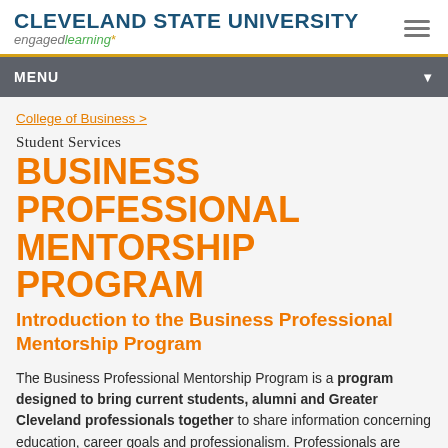CLEVELAND STATE UNIVERSITY engaged learning*
MENU
College of Business >
Student Services
BUSINESS PROFESSIONAL MENTORSHIP PROGRAM
Introduction to the Business Professional Mentorship Program
The Business Professional Mentorship Program is a program designed to bring current students, alumni and Greater Cleveland professionals together to share information concerning education, career goals and professionalism. Professionals are paired with existing students for the academic year and must interact for at least 30 minutes once a month. The interaction can be in person, by phone, e-mail, text or other electronic means of